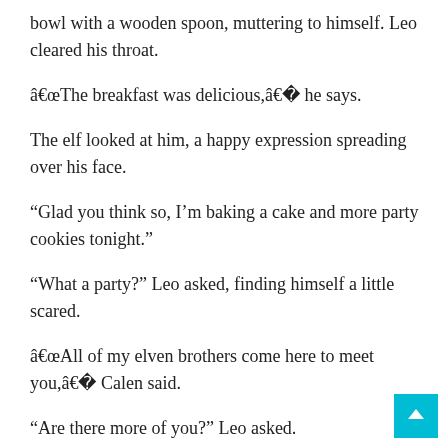bowl with a wooden spoon, muttering to himself. Leo cleared his throat.
â€œThe breakfast was delicious,â€� he says.
The elf looked at him, a happy expression spreading over his face.
“Glad you think so, I’m baking a cake and more party cookies tonight.”
“What a party?” Leo asked, finding himself a little scared.
â€œAll of my elven brothers come here to meet you,â€� Calen said.
“Are there more of you?” Leo asked.
â€œSure. There are thousands of them. We live at the North Pole. Only my four brothers are coming though,â€� Calen s and he stopped stirring. â€œWe don’t help Santa Claus. The red